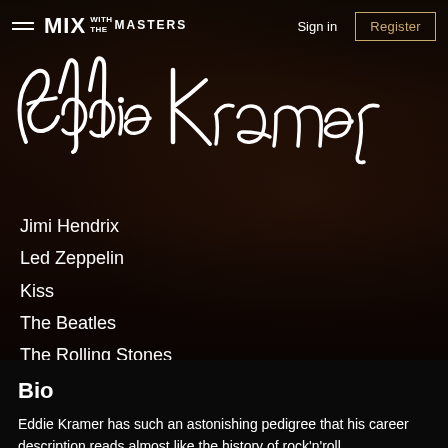MIX WITH THE MASTERS | Sign in | Register
[Figure (screenshot): Hero image of Eddie Kramer at a mixing console in a recording studio, dark warm tones, with Eddie Kramer's signature in white script overlaid on the image]
Jimi Hendrix
Led Zeppelin
Kiss
The Beatles
The Rolling Stones
David Bowie
Santana
Bio
Eddie Kramer has such an astonishing pedigree that his career description reads almost like the history of rock'n'roll